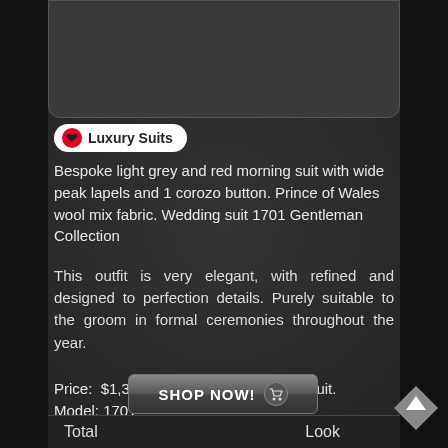[Figure (photo): Product image area showing luxury suit (image content cropped/placeholder)]
Luxury Suits
Bespoke light grey and red morning suit with wide peak lapels and 1 corozo button. Prince of Wales wool mix fabric. Wedding suit 1701 Gentleman Collection
This outfit is very elegant, with refined and designed to perfection details. Purely suitable to the groom in formal ceremonies throughout the year.
Price: $1,318.00 – Available bespoke suit. Model: 1701
[Figure (screenshot): SHOP NOW button with cart icon]
Total   Look